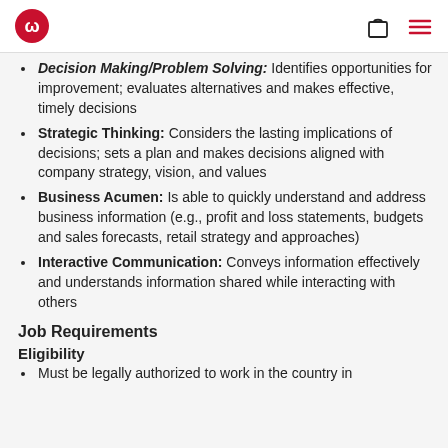lululemon logo, shopping bag icon, menu icon
Decision Making/Problem Solving: Identifies opportunities for improvement; evaluates alternatives and makes effective, timely decisions
Strategic Thinking: Considers the lasting implications of decisions; sets a plan and makes decisions aligned with company strategy, vision, and values
Business Acumen: Is able to quickly understand and address business information (e.g., profit and loss statements, budgets and sales forecasts, retail strategy and approaches)
Interactive Communication: Conveys information effectively and understands information shared while interacting with others
Job Requirements
Eligibility
Must be legally authorized to work in the country in